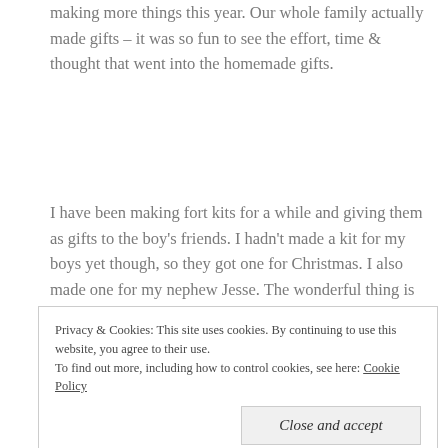making more things this year. Our whole family actually made gifts – it was so fun to see the effort, time & thought that went into the homemade gifts.
I have been making fort kits for a while and giving them as gifts to the boy's friends. I hadn't made a kit for my boys yet though, so they got one for Christmas. I also made one for my nephew Jesse. The wonderful thing is that my sister made a kit for my boys & her son as well, so we now have a double kit! It's been super handy as well, because my boys like to cover the entire living room with sheets. We've had so much fun with this gift – forts & a stage are regular additions to playtime. I am really
Privacy & Cookies: This site uses cookies. By continuing to use this website, you agree to their use. To find out more, including how to control cookies, see here: Cookie Policy
Close and accept